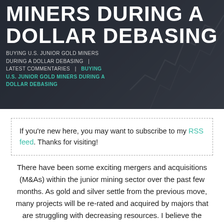MINERS DURING A DOLLAR DEBASING
BUYING U.S. JUNIOR GOLD MINERS DURING A DOLLAR DEBASING | LATEST COMMENTARIES | BUYING U.S. JUNIOR GOLD MINERS DURING A DOLLAR DEBASING
If you're new here, you may want to subscribe to my RSS feed. Thanks for visiting!
There have been some exciting mergers and acquisitions (M&As) within the junior mining sector over the past few months. As gold and silver settle from the previous move, many projects will be re-rated and acquired by majors that are struggling with decreasing resources. I believe the industry is undergoing consolidation and